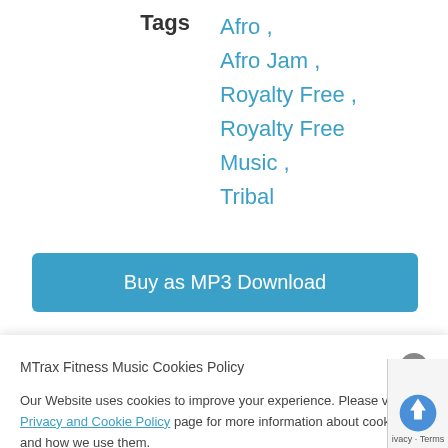Tags
Afro ,
Afro Jam ,
Royalty Free ,
Royalty Free Music ,
Tribal
Buy as MP3 Download
MTrax Fitness Music Cookies Policy
Our Website uses cookies to improve your experience. Please visit our Privacy and Cookie Policy page for more information about cookies and how we use them.